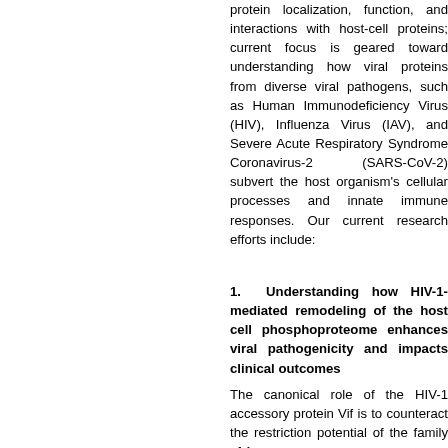protein localization, function, and interactions with host-cell proteins; current focus is geared toward understanding how viral proteins from diverse viral pathogens, such as Human Immunodeficiency Virus (HIV), Influenza Virus (IAV), and Severe Acute Respiratory Syndrome Coronavirus-2 (SARS-CoV-2) subvert the host organism's cellular processes and innate immune responses. Our current research efforts include:
1. Understanding how HIV-1-mediated remodeling of the host cell phosphoproteome enhances viral pathogenicity and impacts clinical outcomes
The canonical role of the HIV-1 accessory protein Vif is to counteract the restriction potential of the family of A